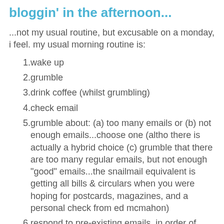bloggin' in the afternoon...
...not my usual routine, but excusable on a monday, i feel. my usual morning routine is:
wake up
grumble
drink coffee (whilst grumbling)
check email
grumble about: (a) too many emails or (b) not enough emails...choose one (altho there is actually a hybrid choice (c) grumble that there are too many regular emails, but not enough "good" emails...the snailmail equivalent is getting all bills & circulars when you were hoping for postcards, magazines, and a personal check from ed mcmahon)
respond to pre-existing emails, in order of overdue-ness
blog
notice the time and shriek for several minutes regarding the impossible lateness of the hour and/or